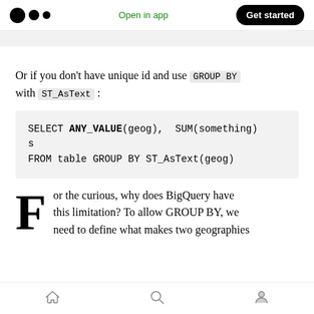Open in app  Get started
Or if you don't have unique id and use GROUP BY with ST_AsText:
SELECT ANY_VALUE(geog), SUM(something)
s
FROM table GROUP BY ST_AsText(geog)
For the curious, why does BigQuery have this limitation? To allow GROUP BY, we need to define what makes two geographies
Home  Search  Profile